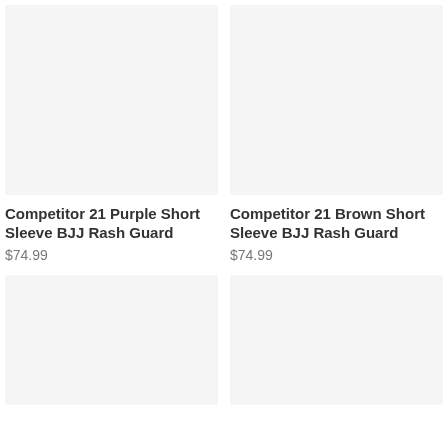[Figure (photo): Product image placeholder for Competitor 21 Purple Short Sleeve BJJ Rash Guard, light gray background]
[Figure (photo): Product image placeholder for Competitor 21 Brown Short Sleeve BJJ Rash Guard, light gray background]
Competitor 21 Purple Short Sleeve BJJ Rash Guard
$74.99
Competitor 21 Brown Short Sleeve BJJ Rash Guard
$74.99
[Figure (photo): Product image placeholder, light gray background]
[Figure (photo): Product image placeholder, light gray background]